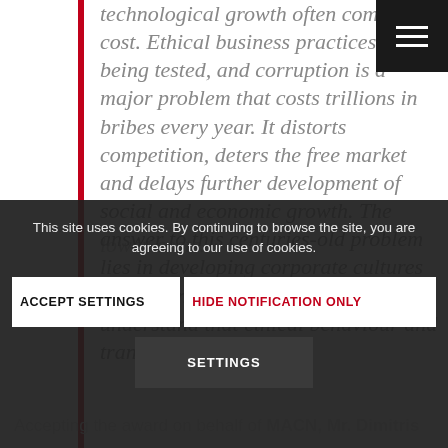technological growth often come at a cost. Ethical business practices are being tested, and corruption is a major problem that costs trillions in bribes every year. It distorts competition, deters the free market and delays further development of social and economic growth. The answer to this centuries-old problem lies in developing corporate cultures with strong business values that understand that ethical behaviour and transparency actually add competitive advantage to organisations and their shareholders are lower costs.
This site uses cookies. By continuing to browse the site, you are agreeing to our use of cookies.
ACCEPT SETTINGS
HIDE NOTIFICATION ONLY
SETTINGS
Accepting the award on behalf of MACN, Mr. Dimitris